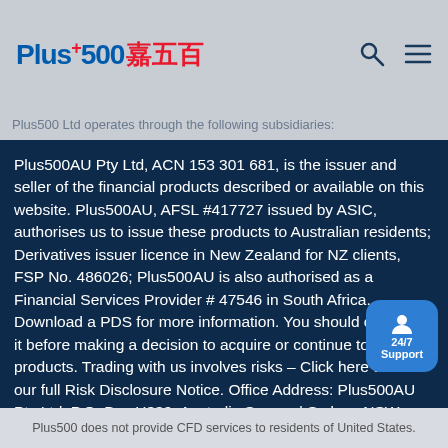Plus500 嘉五百
Plus500 Ltd operates through the following subsidiaries:
Plus500AU Pty Ltd, ACN 153 301 681, is the issuer and seller of the financial products described or available on this website. Plus500AU, AFSL #417727 issued by ASIC, authorises us to issue these products to Australian residents; Derivatives issuer licence in New Zealand for NZ clients, FSP No. 486026; Plus500AU is also authorised as a Financial Services Provider # 47546 in South Africa. Download a PDS for more information. You should consider it before making a decision to acquire or continue to hold our products. Trading with us involves risks – Click here to see our full Risk Disclosure Notice. Office Address: Plus500AU Pty Ltd, P.O. Box H339, Australia Square | Sydney NSW 1215, Australia.
Plus500UK Ltd is authorised and regulated by the Financial Conduct Authority (FRN 509909). Cryptocurrency CFDs are not available to Retail Clients.
Plus500 does not provide CFD services to residents of United States.